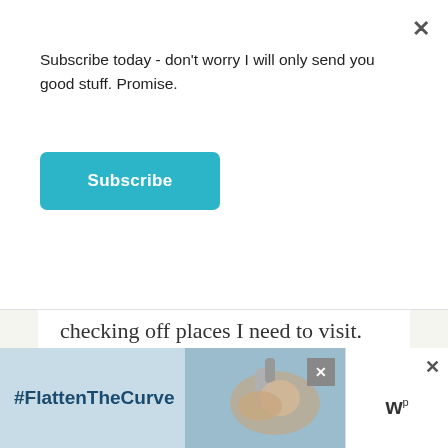Subscribe today - don't worry I will only send you good stuff. Promise.
Subscribe
checking off places I need to visit. And here I thought I had hit most of them – nope! So many more to go. You gotta have travel goals!
[Figure (screenshot): Bottom advertisement banner showing #FlattenTheCurve with hand washing imagery and a close button]
#FlattenTheCurve